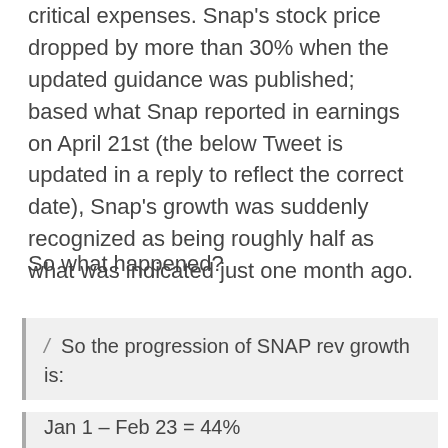critical expenses. Snap's stock price dropped by more than 30% when the updated guidance was published; based what Snap reported in earnings on April 21st (the below Tweet is updated in a reply to reflect the correct date), Snap's growth was suddenly recognized as being roughly half as what was indicated just one month ago.
So what happened?
So the progression of SNAP rev growth is:

Jan 1 – Feb 23 = 44%